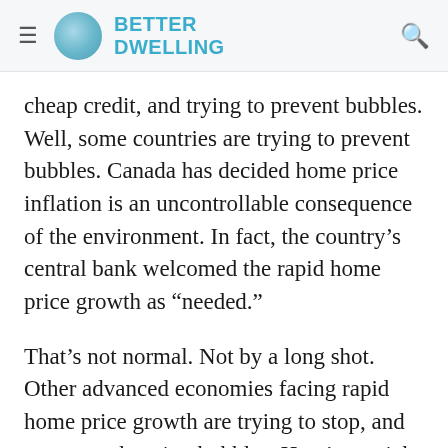BETTER DWELLING
cheap credit, and trying to prevent bubbles. Well, some countries are trying to prevent bubbles. Canada has decided home price inflation is an uncontrollable consequence of the environment. In fact, the country’s central bank welcomed the rapid home price growth as “needed.”
That’s not normal. Not by a long shot. Other advanced economies facing rapid home price growth are trying to stop, and even pop, housing bubbles. Here’s a quick round up of how other countries are working with